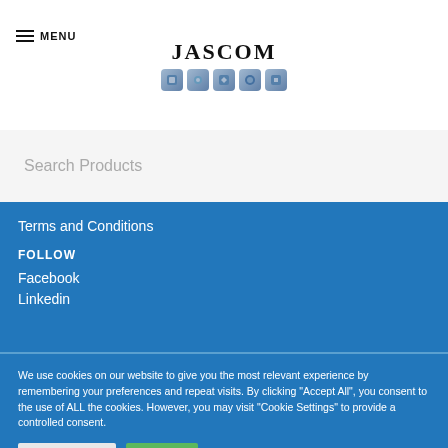MENU | JASCOM
Search Products
Terms and Conditions
FOLLOW
Facebook
Linkedin
We use cookies on our website to give you the most relevant experience by remembering your preferences and repeat visits. By clicking “Accept All”, you consent to the use of ALL the cookies. However, you may visit "Cookie Settings" to provide a controlled consent.
Cookie Settings | Accept All